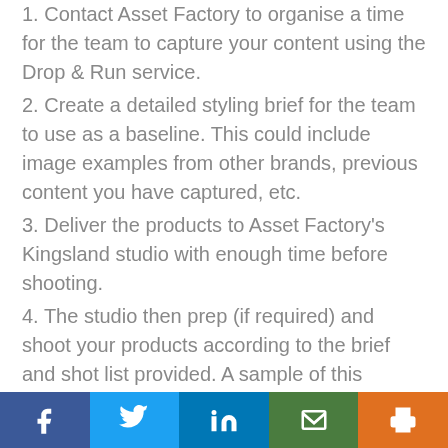1. Contact Asset Factory to organise a time for the team to capture your content using the Drop & Run service.
2. Create a detailed styling brief for the team to use as a baseline. This could include image examples from other brands, previous content you have captured, etc.
3. Deliver the products to Asset Factory's Kingsland studio with enough time before shooting.
4. The studio then prep (if required) and shoot your products according to the brief and shot list provided. A sample of this content can be sent to you for sign-